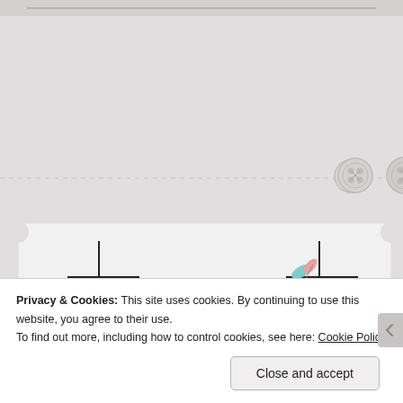[Figure (illustration): Blog website screenshot showing decorative background with sewing buttons and dashed line, a ticket-shaped award card with 'The Aesthete Blogger Award' in cursive script on a light green background with feather/quill decoration]
Privacy & Cookies: This site uses cookies. By continuing to use this website, you agree to their use.
To find out more, including how to control cookies, see here: Cookie Policy
Close and accept